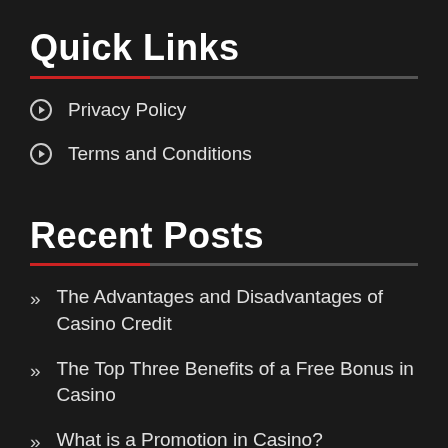Quick Links
Privacy Policy
Terms and Conditions
Recent Posts
The Advantages and Disadvantages of Casino Credit
The Top Three Benefits of a Free Bonus in Casino
What is a Promotion in Casino?